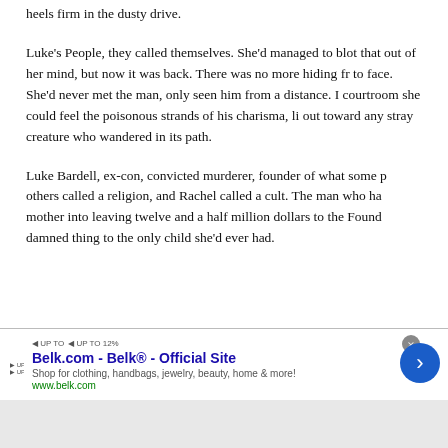heels firm in the dusty drive.
Luke's People, they called themselves. She'd managed to blot that out of her mind, but now it was back. There was no more hiding from face. She'd never met the man, only seen him from a distance. In courtroom she could feel the poisonous strands of his charisma, like out toward any stray creature who wandered in its path.
Luke Bardell, ex-con, convicted murderer, founder of what some p others called a religion, and Rachel called a cult. The man who had mother into leaving twelve and a half million dollars to the Founda damned thing to the only child she'd ever had.
[Figure (other): Advertisement banner for Belk.com - Belk Official Site. Shows 'UP TO' tags on the left, Belk.com - Belk® - Official Site in blue bold text, tagline 'Shop for clothing, handbags, jewelry, beauty, home & more!', URL www.belk.com in green, a close button (X), and a blue arrow button on the right.]